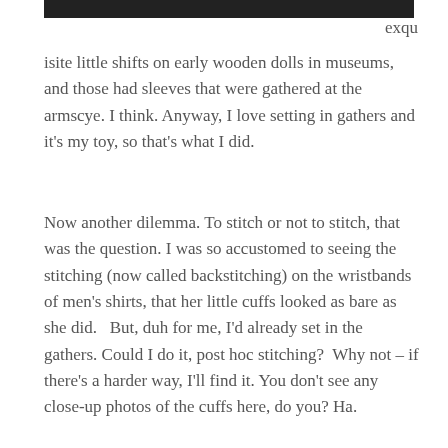[Figure (photo): Top portion of a photograph, partially visible at the top of the page]
exquisite little shifts on early wooden dolls in museums, and those had sleeves that were gathered at the armscye. I think. Anyway, I love setting in gathers and it's my toy, so that's what I did.
Now another dilemma. To stitch or not to stitch, that was the question. I was so accustomed to seeing the stitching (now called backstitching) on the wristbands of men's shirts, that her little cuffs looked as bare as she did.   But, duh for me, I'd already set in the gathers. Could I do it, post hoc stitching?  Why not – if there's a harder way, I'll find it. You don't see any close-up photos of the cuffs here, do you? Ha.